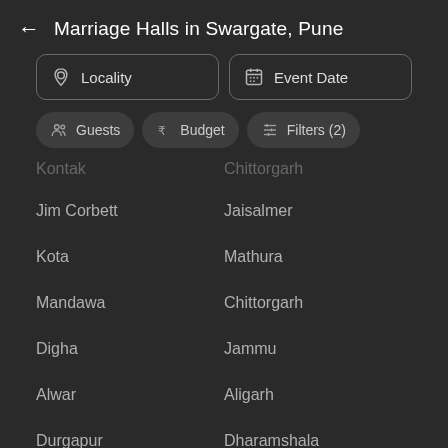← Marriage Halls in Swargate, Pune
Locality | Event Date | Guests | Budget | Filters (2)
Kontak
Chittorgarh
Jim Corbett
Jaisalmer
Kota
Mathura
Mandawa
Chittorgarh
Digha
Jammu
Alwar
Aligarh
Durgapur
Dharamshala
Tirupati
Kumbalgarh